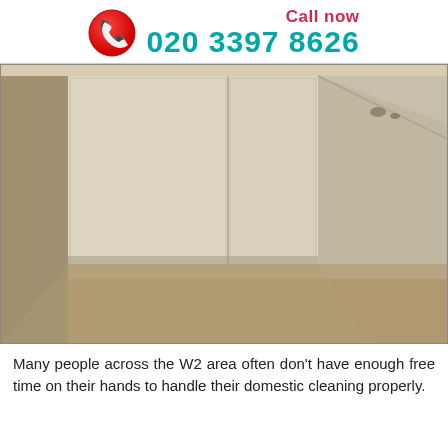Call now 020 3397 8626
[Figure (photo): Interior room photo showing empty room with beige carpet, white built-in wardrobe/closet doors, and slanted ceiling/wall on the right side. Room appears to be cleaned or empty.]
Many people across the W2 area often don't have enough free time on their hands to handle their domestic cleaning properly.